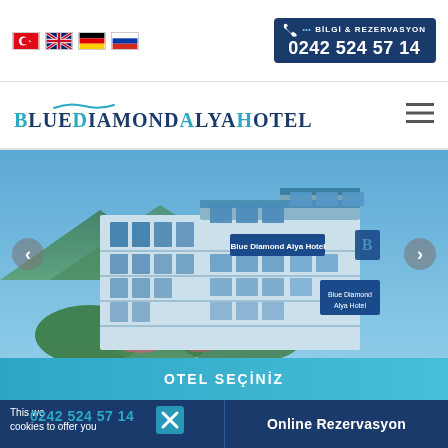[Figure (screenshot): Website header with flag icons (Turkish, British, German, Russian) on the left and a blue phone/reservation box on the right reading '... BİLGİ & REZERVASYON' and '0242 524 57 14']
[Figure (logo): Blue Diamond Alya Hotel logo with teal wave accent and dark blue text]
[Figure (photo): Hotel exterior photo showing a multi-storey building with blue balconies against a blue sky and mountains, with slider navigation arrows]
OTEL SEÇİNİZ
This website uses cookies to offer you
0242 524 57 14
Online Rezervasyon